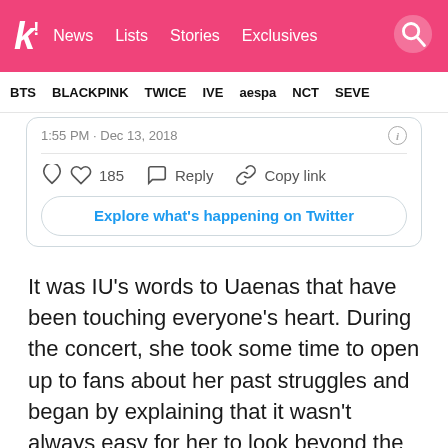k! News  Lists  Stories  Exclusives
BTS  BLACKPINK  TWICE  IVE  aespa  NCT  SEVE
1:55 PM · Dec 13, 2018
185  Reply  Copy link
Explore what's happening on Twitter
It was IU's words to Uaenas that have been touching everyone's heart. During the concert, she took some time to open up to fans about her past struggles and began by explaining that it wasn't always easy for her to look beyond the hate.